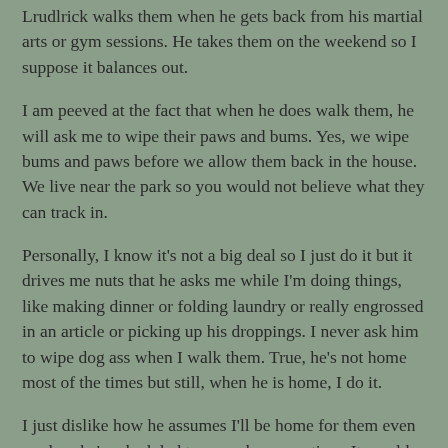Lrudlrick walks them when he gets back from his martial arts or gym sessions. He takes them on the weekend so I suppose it balances out.
I am peeved at the fact that when he does walk them, he will ask me to wipe their paws and bums. Yes, we wipe bums and paws before we allow them back in the house. We live near the park so you would not believe what they can track in.
Personally, I know it's not a big deal so I just do it but it drives me nuts that he asks me while I'm doing things, like making dinner or folding laundry or really engrossed in an article or picking up his droppings. I never ask him to wipe dog ass when I walk them. True, he's not home most of the times but still, when he is home, I do it.
I just dislike how he assumes I'll be home for them even on days he's scheduled to come home on time. It would be nice to be able to get home and not have to worry about the dogs once in awhile. Instead, I'm walking the dogs and wondering